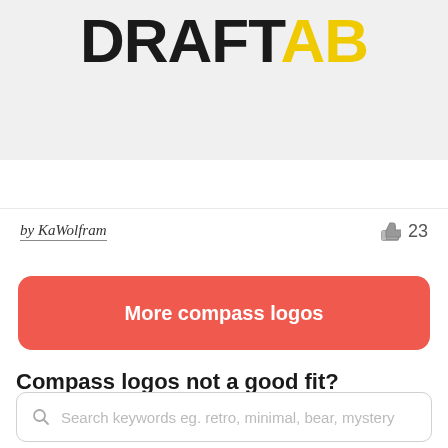[Figure (logo): Partial logo image showing 'DRAFT' text in black bold and yellow bold letters on a light gray background, cropped at top]
by KaWolfram
23
More compass logos
Compass logos not a good fit? Try something else:
Search keywords eg. retro, minimal, bear, mystery